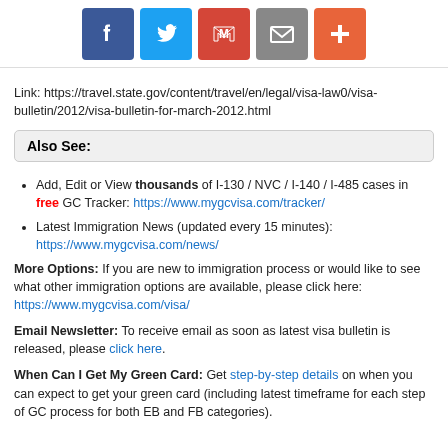[Figure (other): Social media sharing icons: Facebook (blue), Twitter (light blue), Gmail (red), Email (gray), Plus/More (orange-red)]
Link: https://travel.state.gov/content/travel/en/legal/visa-law0/visa-bulletin/2012/visa-bulletin-for-march-2012.html
Also See:
Add, Edit or View thousands of I-130 / NVC / I-140 / I-485 cases in free GC Tracker: https://www.mygcvisa.com/tracker/
Latest Immigration News (updated every 15 minutes): https://www.mygcvisa.com/news/
More Options: If you are new to immigration process or would like to see what other immigration options are available, please click here: https://www.mygcvisa.com/visa/
Email Newsletter: To receive email as soon as latest visa bulletin is released, please click here.
When Can I Get My Green Card: Get step-by-step details on when you can expect to get your green card (including latest timeframe for each step of GC process for both EB and FB categories).